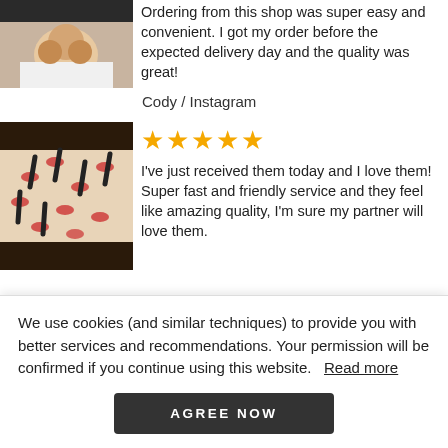[Figure (photo): Photo of custom-printed underwear on a person]
Ordering from this shop was super easy and convenient. I got my order before the expected delivery day and the quality was great!
Cody / Instagram
[Figure (photo): Photo of custom-printed underwear with lips pattern laid flat]
★★★★★
I've just received them today and I love them! Super fast and friendly service and they feel like amazing quality, I'm sure my partner will love them.
We use cookies (and similar techniques) to provide you with better services and recommendations. Your permission will be confirmed if you continue using this website.   Read more
AGREE NOW
[Figure (photo): Partial thumbnail of another product photo at bottom]